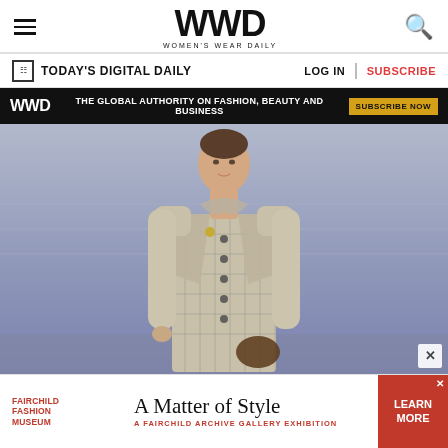WWD WOMEN'S WEAR DAILY
TODAY'S DIGITAL DAILY | LOG IN | SUBSCRIBE
WWD THE GLOBAL AUTHORITY ON FASHION, BEAUTY AND BUSINESS SUBSCRIBE NOW
[Figure (photo): Fashion runway model wearing a plaid double-breasted coat/suit with bow tie collar, carrying a dark bag, walking on a runway with a purple/grey background]
[Figure (infographic): Fairchild Fashion Museum advertisement: A Matter of Style - A Fairchild Archive Gallery Exhibition. LEARN MORE button on right.]